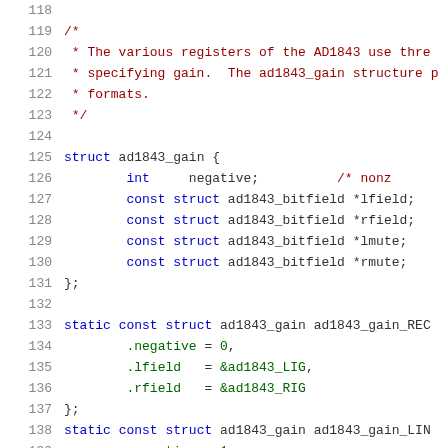[Figure (screenshot): Source code listing in C showing lines 118-139, defining a struct ad1843_gain and static const instances. Line numbers on the left in gray, code syntax highlighted with blue keywords, dark red comments, and green field/value references.]